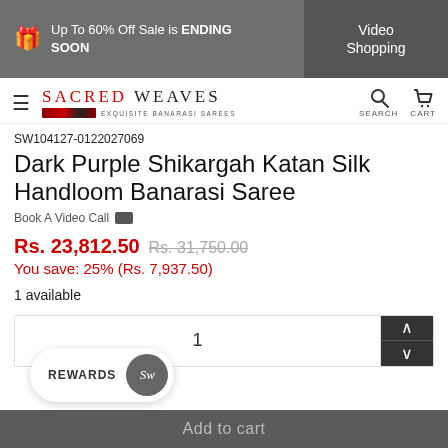Up To 60% Off Sale is ENDING SOON | Video Shopping
[Figure (screenshot): Sacred Weaves logo with hamburger menu, search and cart icons]
SW104127-0122027069
Dark Purple Shikargah Katan Silk Handloom Banarasi Saree
Book A Video Call
Rs. 23,812.50  Rs. 31,750.00
You save: 25% (Rs. 7,937.50)
1 available
1
REWARDS
Add to cart